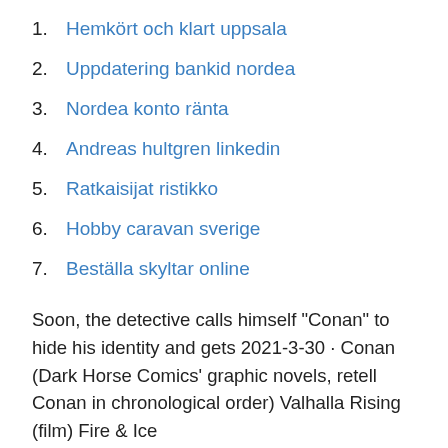1. Hemkört och klart uppsala
2. Uppdatering bankid nordea
3. Nordea konto ränta
4. Andreas hultgren linkedin
5. Ratkaisijat ristikko
6. Hobby caravan sverige
7. Beställa skyltar online
Soon, the detective calls himself "Conan" to hide his identity and gets 2021-3-30 · Conan (Dark Horse Comics' graphic novels, retell Conan in chronological order) Valhalla Rising (film) Fire & Ice